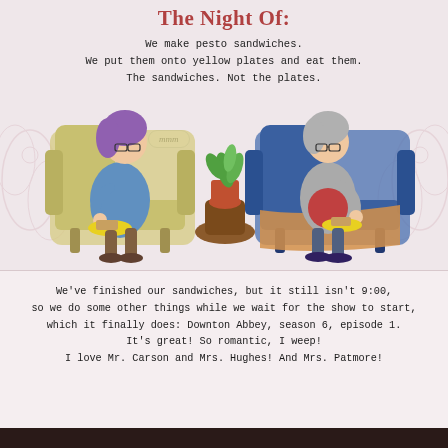The Night Of:
We make pesto sandwiches.
We put them onto yellow plates and eat them.
The sandwiches. Not the plates.
[Figure (illustration): Two women sitting in armchairs eating sandwiches on yellow plates. Left woman has purple hair and blue sweater in a cream chair. Right woman has gray hair and gray cardigan with red top in a blue chair. A plant on a side table sits between them. Speech bubbles: 'mmm' and 'mm hm'. Decorative floral background.]
We've finished our sandwiches, but it still isn't 9:00, so we do some other things while we wait for the show to start, which it finally does: Downton Abbey, season 6, episode 1. It's great! So romantic, I weep! I love Mr. Carson and Mrs. Hughes! And Mrs. Patmore!